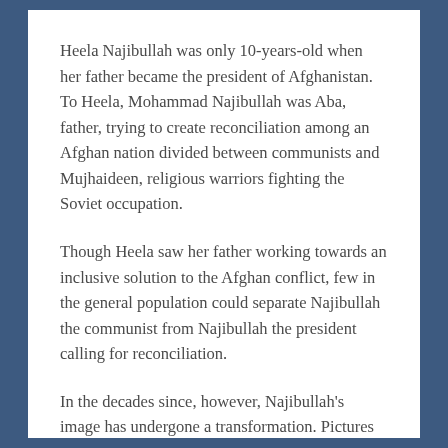Heela Najibullah was only 10-years-old when her father became the president of Afghanistan. To Heela, Mohammad Najibullah was Aba, father, trying to create reconciliation among an Afghan nation divided between communists and Mujhaideen, religious warriors fighting the Soviet occupation.
Though Heela saw her father working towards an inclusive solution to the Afghan conflict, few in the general population could separate Najibullah the communist from Najibullah the president calling for reconciliation.
In the decades since, however, Najibullah's image has undergone a transformation. Pictures of a